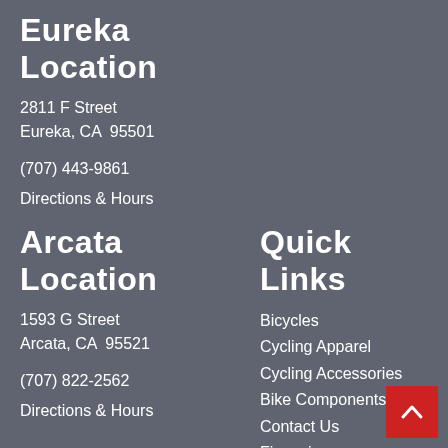Eureka Location
2811 F Street
Eureka, CA  95501
(707) 443-9861
Directions & Hours
Arcata Location
1593 G Street
Arcata, CA  95521
(707) 822-2562
Directions & Hours
Quick Links
Bicycles
Cycling Apparel
Cycling Accessories
Bike Components
Contact Us
Financing
Our Policies